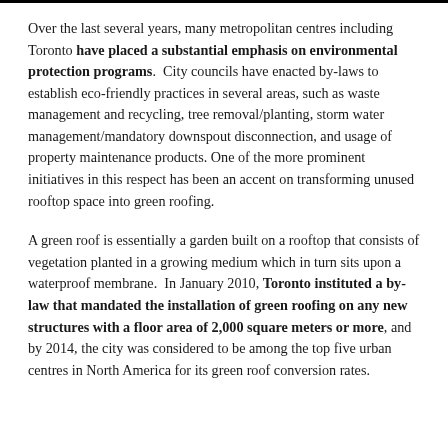Over the last several years, many metropolitan centres including Toronto have placed a substantial emphasis on environmental protection programs. City councils have enacted by-laws to establish eco-friendly practices in several areas, such as waste management and recycling, tree removal/planting, storm water management/mandatory downspout disconnection, and usage of property maintenance products. One of the more prominent initiatives in this respect has been an accent on transforming unused rooftop space into green roofing.
A green roof is essentially a garden built on a rooftop that consists of vegetation planted in a growing medium which in turn sits upon a waterproof membrane. In January 2010, Toronto instituted a by-law that mandated the installation of green roofing on any new structures with a floor area of 2,000 square meters or more, and by 2014, the city was considered to be among the top five urban centres in North America for its green roof conversion rates.